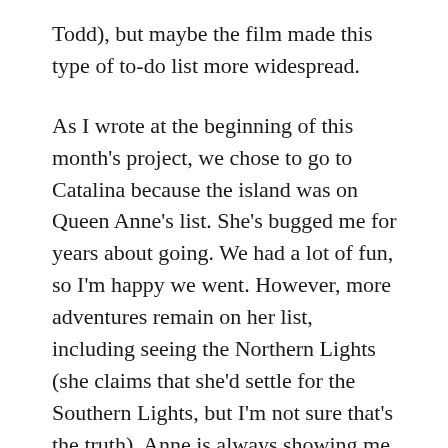Todd), but maybe the film made this type of to-do list more widespread.
As I wrote at the beginning of this month's project, we chose to go to Catalina because the island was on Queen Anne's list. She's bugged me for years about going. We had a lot of fun, so I'm happy we went. However, more adventures remain on her list, including seeing the Northern Lights (she claims that she'd settle for the Southern Lights, but I'm not sure that's the truth). Anne is always showing me deals on Iceland tours from Travel Zoo. The hitch is that the best time to see the lights is in the middle of the night in winter. I can't imagine dragging her from a warm bed into the